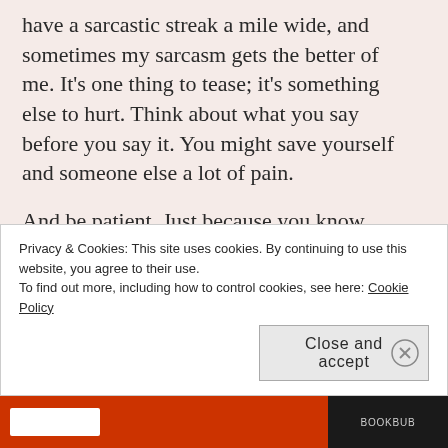have a sarcastic streak a mile wide, and sometimes my sarcasm gets the better of me. It's one thing to tease; it's something else to hurt. Think about what you say before you say it. You might save yourself and someone else a lot of pain.
And be patient. Just because you know something is true or right doesn't mean other people have had the same opportunities to learn that you have. Just because your life experiences have taught you valuable wisdom doesn't mean that other people are stupid because they don't know the same thing. And
Privacy & Cookies: This site uses cookies. By continuing to use this website, you agree to their use.
To find out more, including how to control cookies, see here: Cookie Policy